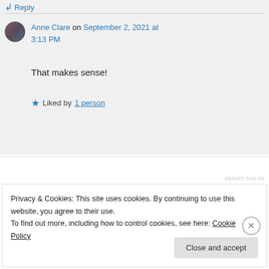Reply
Anne Clare on September 2, 2021 at 3:13 PM
That makes sense!
Liked by 1 person
REPORT THIS AD
Privacy & Cookies: This site uses cookies. By continuing to use this website, you agree to their use.
To find out more, including how to control cookies, see here: Cookie Policy
Close and accept